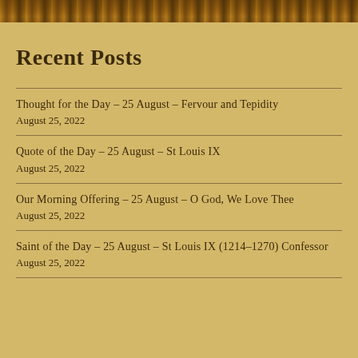[Figure (photo): Decorative banner image with religious/medieval artwork in dark golden and brown tones]
Recent Posts
Thought for the Day – 25 August – Fervour and Tepidity
August 25, 2022
Quote of the Day – 25 August – St Louis IX
August 25, 2022
Our Morning Offering – 25 August – O God, We Love Thee
August 25, 2022
Saint of the Day – 25 August – St Louis IX (1214–1270) Confessor
August 25, 2022